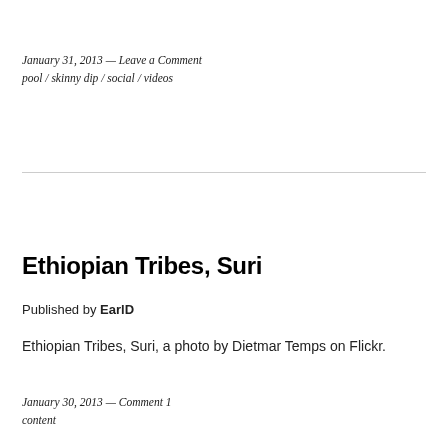January 31, 2013 — Leave a Comment
pool / skinny dip / social / videos
Ethiopian Tribes, Suri
Published by EarlD
Ethiopian Tribes, Suri, a photo by Dietmar Temps on Flickr.
January 30, 2013 — Comment 1
content